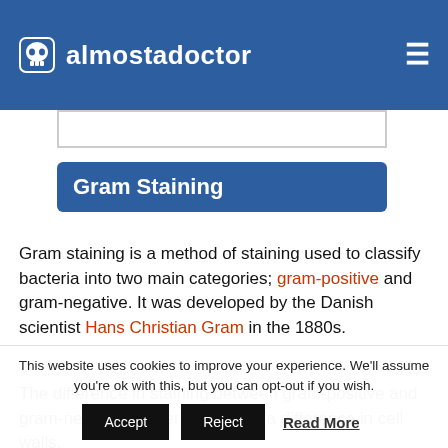almostadoctor
Gram Staining
Gram staining is a method of staining used to classify bacteria into two main categories; gram-positive and gram-negative. It was developed by the Danish scientist Hans Christian Gram in the 1880s.
The difference in staining between gram-positive and gram-negative bacteria is due to a difference in cell walls.
This website uses cookies to improve your experience. We'll assume you're ok with this, but you can opt-out if you wish.